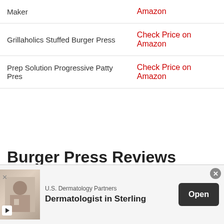|  |  |
| --- | --- |
| Maker | Amazon |
| Grillaholics Stuffed Burger Press | Check Price on Amazon |
| Prep Solution Progressive Patty Pres | Check Price on Amazon |
Burger Press Reviews
If you're looking for the best burger press, then you'll want to seriously consider one of these top options.
[Figure (other): Advertisement banner for U.S. Dermatology Partners - Dermatologist in Sterling, with an Open button]